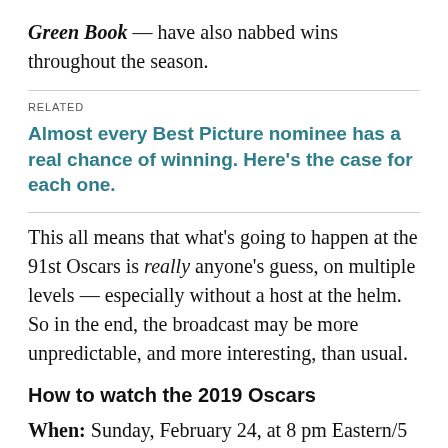Green Book — have also nabbed wins throughout the season.
RELATED
Almost every Best Picture nominee has a real chance of winning. Here's the case for each one.
This all means that what's going to happen at the 91st Oscars is really anyone's guess, on multiple levels — especially without a host at the helm. So in the end, the broadcast may be more unpredictable, and more interesting, than usual.
How to watch the 2019 Oscars
When: Sunday, February 24, at 8 pm Eastern/5 pm Pacific. ABC's red-carpet coverage begins at 5:30 pm Eastern/2:30 pm Pacific on ABC News Live.